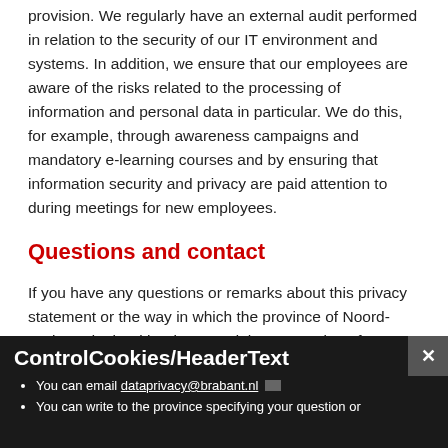provision. We regularly have an external audit performed in relation to the security of our IT environment and systems. In addition, we ensure that our employees are aware of the risks related to the processing of information and personal data in particular. We do this, for example, through awareness campaigns and mandatory e-learning courses and by ensuring that information security and privacy are paid attention to during meetings for new employees.
Questions and contact
If you have any questions or remarks about this privacy statement or the way in which the province of Noord-Brabant deals with privacy and the processing of personal data, please contact the Data Protection Officer of the province. The province's aim is to deal with questions and remarks personally and quickly. You can contact the province using the methods described below:
ControlCookies/HeaderText
You can email dataprivacy@brabant.nl
You can write to the province specifying your question or